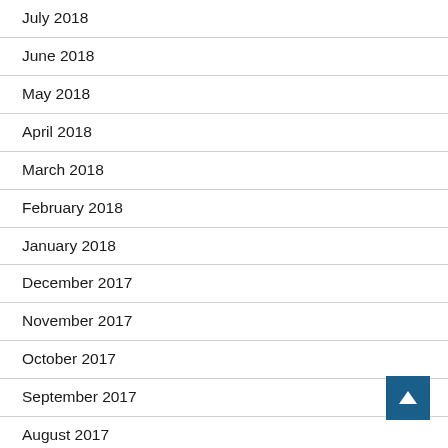July 2018
June 2018
May 2018
April 2018
March 2018
February 2018
January 2018
December 2017
November 2017
October 2017
September 2017
August 2017
June 2017
May 2017